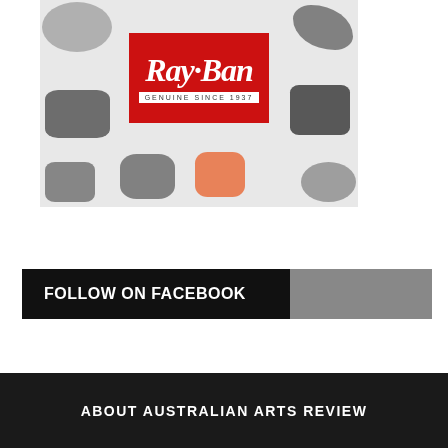[Figure (photo): Ray-Ban sunglasses advertisement showing multiple sunglasses frames on white background with Ray-Ban logo and 'GENUINE SINCE 1937' tagline]
[Figure (infographic): Follow on Facebook banner with black left section and gray right section]
ABOUT AUSTRALIAN ARTS REVIEW